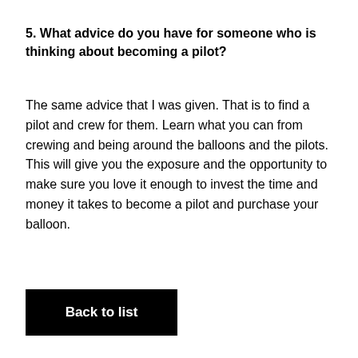5. What advice do you have for someone who is thinking about becoming a pilot?
The same advice that I was given. That is to find a pilot and crew for them. Learn what you can from crewing and being around the balloons and the pilots. This will give you the exposure and the opportunity to make sure you love it enough to invest the time and money it takes to become a pilot and purchase your balloon.
Back to list